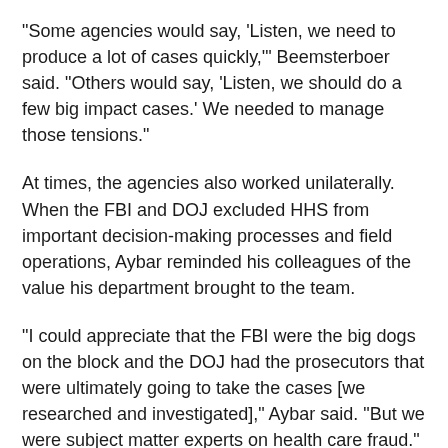“Some agencies would say, ‘Listen, we need to produce a lot of cases quickly,’” Beemsterboer said. “Others would say, ‘Listen, we should do a few big impact cases.’ We needed to manage those tensions.”
At times, the agencies also worked unilaterally. When the FBI and DOJ excluded HHS from important decision-making processes and field operations, Aybar reminded his colleagues of the value his department brought to the team.
“I could appreciate that the FBI were the big dogs on the block and the DOJ had the prosecutors that were ultimately going to take the cases [we researched and investigated],” Aybar said. “But we were subject matter experts on health care fraud.”